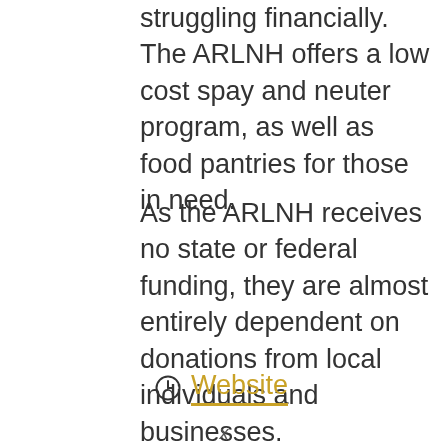struggling financially. The ARLNH offers a low cost spay and neuter program, as well as food pantries for those in need.
As the ARLNH receives no state or federal funding, they are almost entirely dependent on donations from local individuals and businesses.
🕐 Website